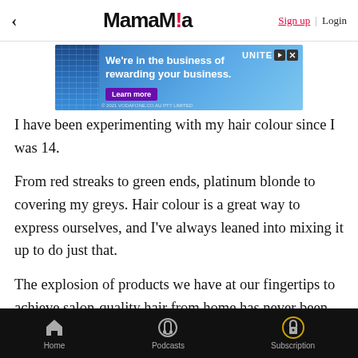MamaMia — Sign up | Login
[Figure (screenshot): Advertisement banner for Unite For Business with blue building graphic and 'We're in the business of rewarding your business.' text with a Learn more button]
I have been experimenting with my hair colour since I was 14.
From red streaks to green ends, platinum blonde to covering my greys. Hair colour is a great way to express ourselves, and I've always leaned into mixing it up to do just that.
The explosion of products we have at our fingertips to achieve salon-quality hair from home has never been better. Colouring your hair from home can be such a cost-effective way to achieve great results while never leaving the house (and for me, not getting out of my
Home | Podcasts | Subscription